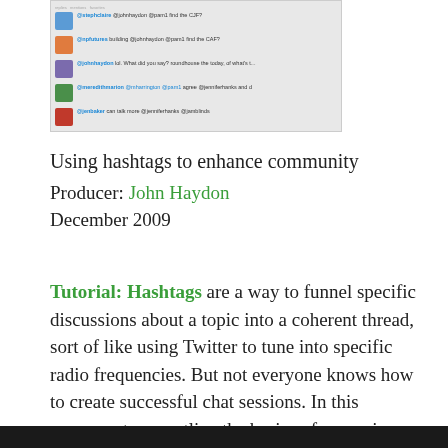[Figure (screenshot): Screenshot of a Twitter conversation feed showing multiple tweets with user avatars and text, related to hashtag discussions]
Using hashtags to enhance community
Producer: John Haydon
December 2009
Tutorial: Hashtags are a way to funnel specific discussions about a topic into a coherent thread, sort of like using Twitter to tune into specific radio frequencies. But not everyone knows how to create successful chat sessions. In this screencast, we outline the basics of managing a hashtag chat on Twitter.
[Figure (screenshot): Dark footer bar at the bottom of the page]